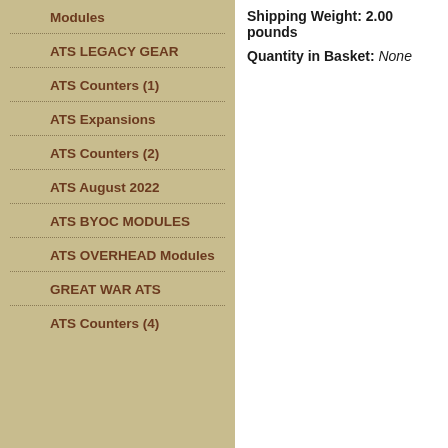Modules
ATS LEGACY GEAR
ATS Counters (1)
ATS Expansions
ATS Counters (2)
ATS August 2022
ATS BYOC MODULES
ATS OVERHEAD Modules
GREAT WAR ATS
ATS Counters (4)
Shipping Weight: 2.00 pounds
Quantity in Basket: None